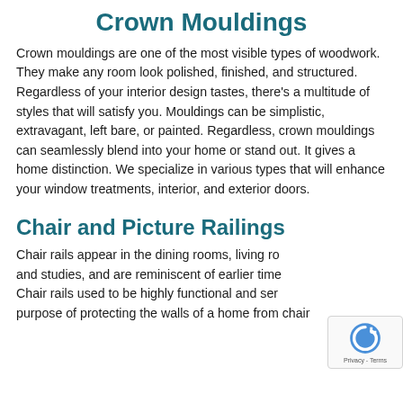Crown Mouldings
Crown mouldings are one of the most visible types of woodwork. They make any room look polished, finished, and structured. Regardless of your interior design tastes, there's a multitude of styles that will satisfy you. Mouldings can be simplistic, extravagant, left bare, or painted. Regardless, crown mouldings can seamlessly blend into your home or stand out. It gives a home distinction. We specialize in various types that will enhance your window treatments, interior, and exterior doors.
Chair and Picture Railings
Chair rails appear in the dining rooms, living ro... and studies, and are reminiscent of earlier time... Chair rails used to be highly functional and ser... purpose of protecting the walls of a home from chair...